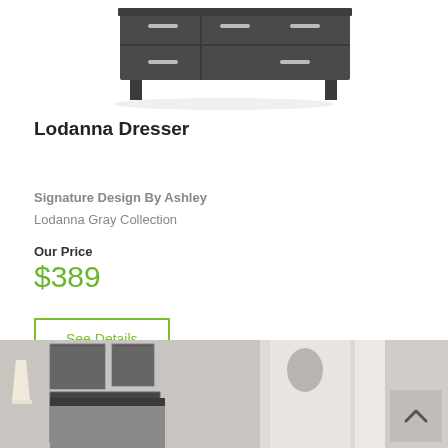[Figure (photo): Top portion of a dark gray dresser product photo on white background]
Lodanna Dresser
Signature Design By Ashley
Lodanna Gray Collection
Our Price
$389
See Details
[Figure (photo): Bedroom scene showing a dark gray bed with artwork on wall, partial view, and scroll-to-top button]